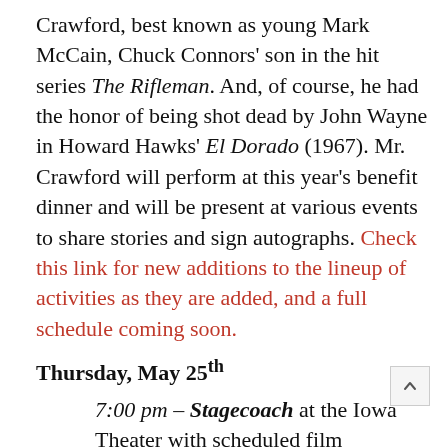Crawford, best known as young Mark McCain, Chuck Connors' son in the hit series The Rifleman. And, of course, he had the honor of being shot dead by John Wayne in Howard Hawks' El Dorado (1967). Mr. Crawford will perform at this year's benefit dinner and will be present at various events to share stories and sign autographs. Check this link for new additions to the lineup of activities as they are added, and a full schedule coming soon.
Thursday, May 25th
7:00 pm – Stagecoach at the Iowa Theater with scheduled film introduction and post-screening discussion with Joseph Malham, author of John Ford: Poet in the